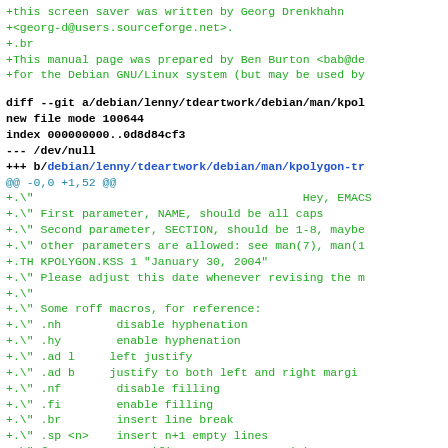+this screen saver was written by Georg Drenkhahn
+<georg-d@users.sourceforge.net>.
+.br
+This manual page was prepared by Ben Burton <bab@de
+for the Debian GNU/Linux system (but may be used by
diff --git a/debian/lenny/tdeartwork/debian/man/kpol
new file mode 100644
index 000000000..0d8d84cf3
--- /dev/null
+++ b/debian/lenny/tdeartwork/debian/man/kpolygon-tr
@@ -0,0 +1,52 @@
+.\" Hey, EMACS
+.\" First parameter, NAME, should be all caps
+.\" Second parameter, SECTION, should be 1-8, maybe
+.\" other parameters are allowed: see man(7), man(1
+.TH KPOLYGON.KSS 1 "January 30, 2004"
+.\" Please adjust this date whenever revising the m
+.\"
+.\" Some roff macros, for reference:
+.\" .nh        disable hyphenation
+.\" .hy        enable hyphenation
+.\" .ad l      left justify
+.\" .ad b      justify to both left and right margi
+.\" .nf        disable filling
+.\" .fi        enable filling
+.\" .br        insert line break
+.\" .sp <n>    insert n+1 empty lines
+.\" for manpage-specific macros, see man(7)
+.SH NAME
+kpolygon.kss - Polygons screen saver for KDE